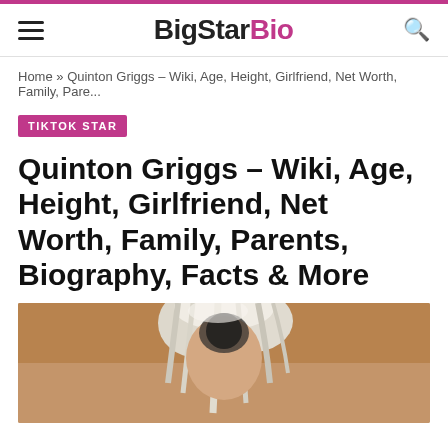BigStarBio
Home » Quinton Griggs – Wiki, Age, Height, Girlfriend, Net Worth, Family, Pare...
TIKTOK STAR
Quinton Griggs – Wiki, Age, Height, Girlfriend, Net Worth, Family, Parents, Biography, Facts & More
[Figure (photo): Photo of Quinton Griggs, appears to show a person with light/white hair photographed from above against a brown/tan background]